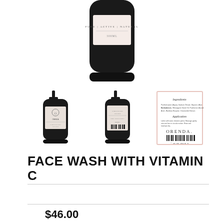[Figure (photo): Large product photo of Orenda face wash bottle (black pump dispenser) showing the back label with 'PURE | ACTIVE | NATURAL' and '300ML', partially cropped at top]
[Figure (photo): Three thumbnail product images of Orenda Face Wash with Vitamin C: left shows front view of black pump bottle with Orenda logo, center shows back of bottle with text, right shows the label card with ingredients, Orenda logo, and barcode]
FACE WASH WITH VITAMIN C
$46.00